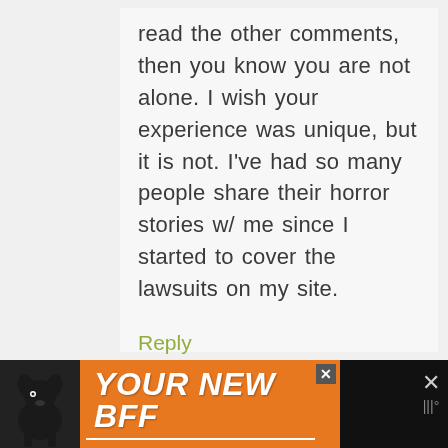read the other comments, then you know you are not alone. I wish your experience was unique, but it is not. I've had so many people share their horror stories w/ me since I started to cover the lawsuits on my site.
Reply
[Figure (infographic): Advertisement banner with black background showing a dog image on orange background with text 'YOUR NEW BFF', with close buttons]